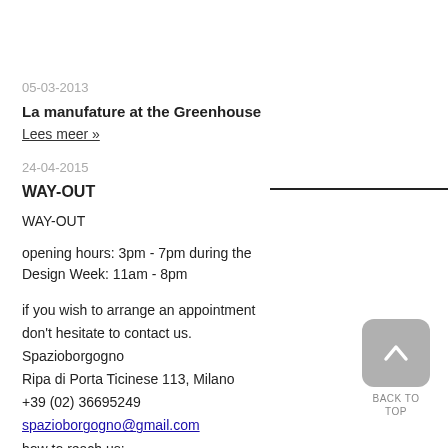05-03-2013
La manufature at the Greenhouse
Lees meer »
24-04-2015
WAY-OUT
WAY-OUT
opening hours: 3pm - 7pm during the Design Week: 11am - 8pm
if you wish to arrange an appointment don't hesitate to contact us.
Spazioborgogno
Ripa di Porta Ticinese 113, Milano
+39 (02) 36695249
spazioborgogno@gmail.com
how to reach us: